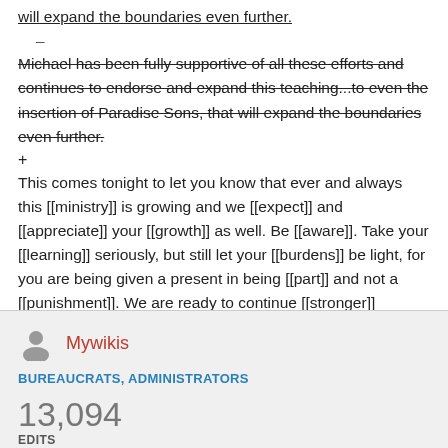will expand the boundaries even further.
–
Michael has been fully supportive of all these efforts and continues to endorse and expand this teaching...to even the insertion of Paradise Sons, that will expand the boundaries even further.
+
This comes tonight to let you know that ever and always this [[ministry]] is growing and we [[expect]] and [[appreciate]] your [[growth]] as well. Be [[aware]]. Take your [[learning]] seriously, but still let your [[burdens]] be light, for you are being given a present in being [[part]] and not a [[punishment]]. We are ready to continue [[stronger]]
Mywikis
BUREAUCRATS, ADMINISTRATORS
13,094 EDITS